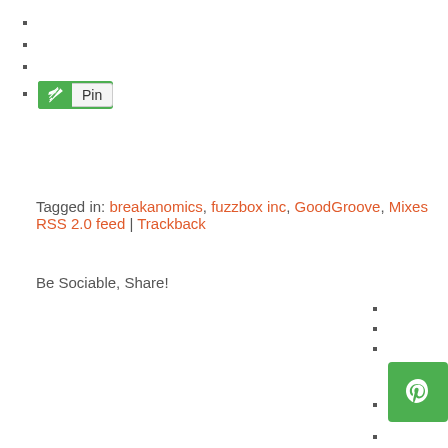Pin (button)
Tagged in: breakanomics, fuzzbox inc, GoodGroove, Mixes RSS 2.0 feed | Trackback
Be Sociable, Share!
(Pin button square)
(MORE button)
Tweet